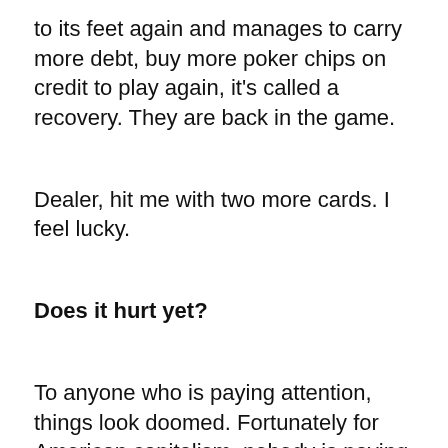to its feet again and manages to carry more debt, buy more poker chips on credit to play again, it's called a recovery. They are back in the game.
Dealer, hit me with two more cards. I feel lucky.
Does it hurt yet?
To anyone who is paying attention, things look doomed. Fortunately for American capitalism, nobody is paying attention. They never have. Even given the unemployment numbers, foreclosures and bankruptcies, most Americans are still not feeling enough pain yet to demand